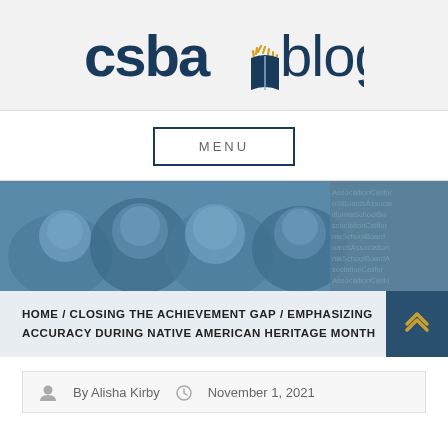[Figure (logo): CSBA Blog logo with book/sun icon]
MENU
[Figure (photo): Group of smiling children huddled together, blue-tinted overlay with repeated text pattern on right side]
HOME / CLOSING THE ACHIEVEMENT GAP / EMPHASIZING ACCURACY DURING NATIVE AMERICAN HERITAGE MONTH
By Alisha Kirby   November 1, 2021